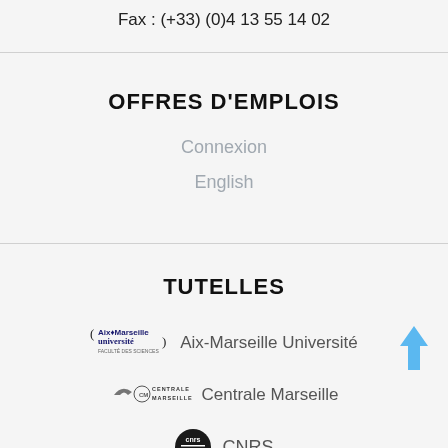Fax : (+33) (0)4 13 55 14 02
OFFRES D'EMPLOIS
Connexion
English
TUTELLES
[Figure (logo): Aix-Marseille Université logo with text]
[Figure (logo): Centrale Marseille logo with text]
[Figure (logo): CNRS logo with text]